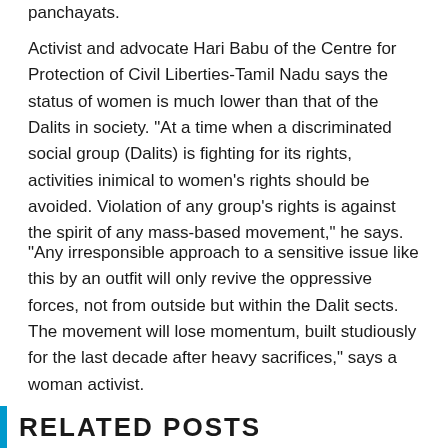panchayats.
Activist and advocate Hari Babu of the Centre for Protection of Civil Liberties-Tamil Nadu says the status of women is much lower than that of the Dalits in society. "At a time when a discriminated social group (Dalits) is fighting for its rights, activities inimical to women's rights should be avoided. Violation of any group's rights is against the spirit of any mass-based movement," he says.
"Any irresponsible approach to a sensitive issue like this by an outfit will only revive the oppressive forces, not from outside but within the Dalit sects. The movement will lose momentum, built studiously for the last decade after heavy sacrifices," says a woman activist.
RELATED POSTS